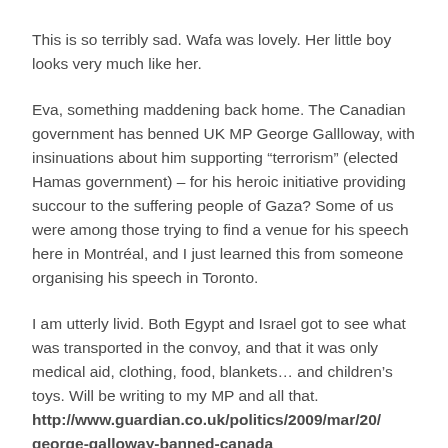This is so terribly sad. Wafa was lovely. Her little boy looks very much like her.
Eva, something maddening back home. The Canadian government has benned UK MP George Gallloway, with insinuations about him supporting “terrorism” (elected Hamas government) – for his heroic initiative providing succour to the suffering people of Gaza? Some of us were among those trying to find a venue for his speech here in Montréal, and I just learned this from someone organising his speech in Toronto.
I am utterly livid. Both Egypt and Israel got to see what was transported in the convoy, and that it was only medical aid, clothing, food, blankets… and children’s toys. Will be writing to my MP and all that. http://www.guardian.co.uk/politics/2009/mar/20/george-galloway-banned-canada